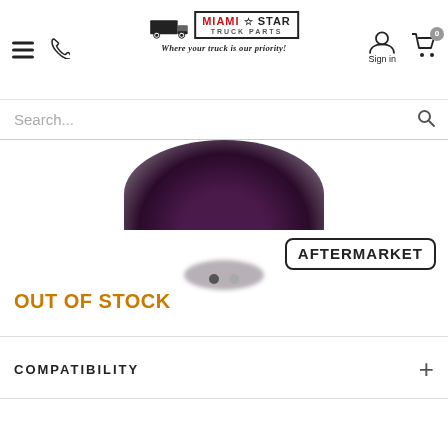[Figure (logo): Miami Star Truck Parts logo with truck graphic, star, and tagline 'Where your truck is our priority!']
Search...
[Figure (photo): Partial product image, dark rounded object visible at top, with two navigation dots below]
[Figure (other): AFTERMARKET badge with bold text in rounded rectangle border]
OUT OF STOCK
COMPATIBILITY